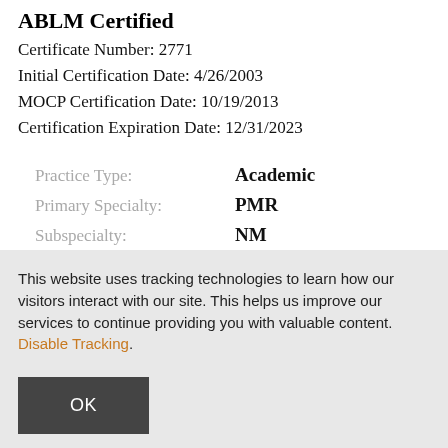ABLM Certified
Certificate Number: 2771
Initial Certification Date: 4/26/2003
MOCP Certification Date: 10/19/2013
Certification Expiration Date: 12/31/2023
Practice Type: Academic
Primary Specialty: PMR
Subspecialty: NM
This website uses tracking technologies to learn how our visitors interact with our site. This helps us improve our services to continue providing you with valuable content. Disable Tracking. OK